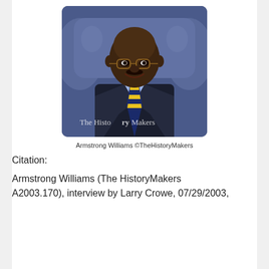[Figure (photo): Portrait photo of Armstrong Williams, a man wearing glasses, a dark pinstriped suit, light blue shirt, and a blue and yellow striped tie, seated in a blue chair. The HistoryMakers watermark is visible at the bottom.]
Armstrong Williams ©TheHistoryMakers
Citation:
Armstrong Williams (The HistoryMakers A2003.170), interview by Larry Crowe, 07/29/2003,